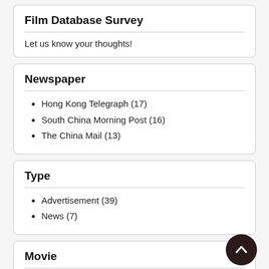Film Database Survey
Let us know your thoughts!
Newspaper
Hong Kong Telegraph (17)
South China Morning Post (16)
The China Mail (13)
Type
Advertisement (39)
News (7)
Movie
Show all (1254)
Topical Budget (126)
Comedy (69)
Gazette (56)